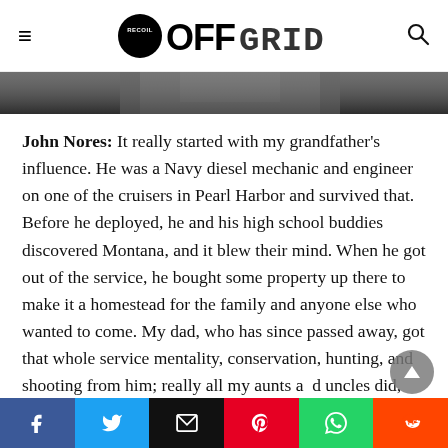RECOIL OFFGRID
[Figure (photo): Hero image strip showing a person, partial view]
John Nores: It really started with my grandfather's influence. He was a Navy diesel mechanic and engineer on one of the cruisers in Pearl Harbor and survived that. Before he deployed, he and his high school buddies discovered Montana, and it blew their mind. When he got out of the service, he bought some property up there to make it a homestead for the family and anyone else who wanted to come. My dad, who has since passed away, got that whole service mentality, conservation, hunting, and shooting from him; really all my aunts and uncles did, and that trickled down through the
Facebook Twitter Email Pinterest WhatsApp Reddit